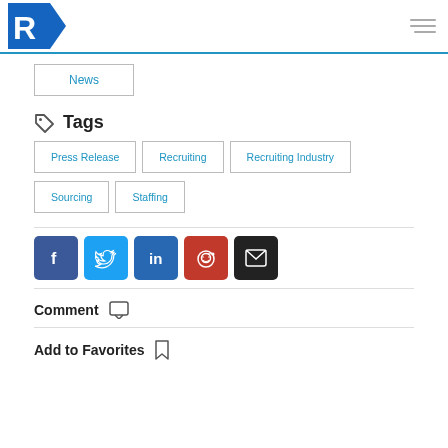R [logo] | hamburger menu
News
Tags
Press Release
Recruiting
Recruiting Industry
Sourcing
Staffing
[Figure (infographic): Social share buttons: Facebook, Twitter, LinkedIn, Reddit, Email]
Comment
Add to Favorites